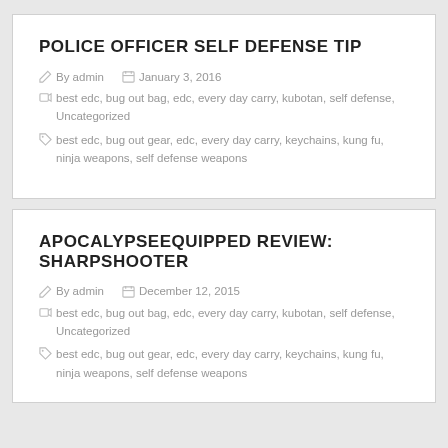POLICE OFFICER SELF DEFENSE TIP
By admin   January 3, 2016
best edc, bug out bag, edc, every day carry, kubotan, self defense, Uncategorized
best edc, bug out gear, edc, every day carry, keychains, kung fu, ninja weapons, self defense weapons
APOCALYPSEEQUIPPED REVIEW: SHARPSHOOTER
By admin   December 12, 2015
best edc, bug out bag, edc, every day carry, kubotan, self defense, Uncategorized
best edc, bug out gear, edc, every day carry, keychains, kung fu, ninja weapons, self defense weapons